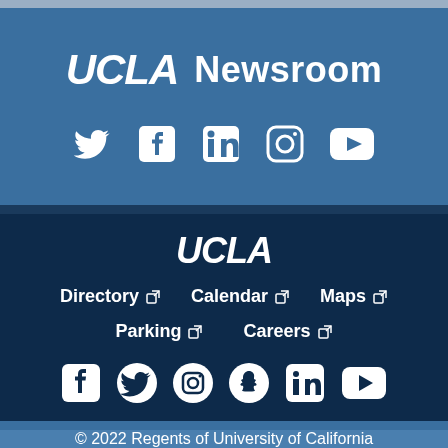[Figure (logo): UCLA Newsroom logo with text]
[Figure (infographic): Social media icons: Twitter, Facebook, LinkedIn, Instagram, YouTube (upper section)]
[Figure (logo): UCLA logo in dark blue footer section]
Directory  Calendar  Maps  Parking  Careers (navigation links with external link icons)
[Figure (infographic): Social media icons: Facebook, Twitter, Instagram, Snapchat, LinkedIn, YouTube (lower section)]
© 2022 Regents of University of California